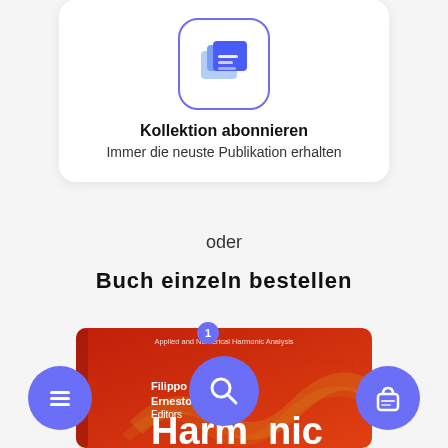[Figure (screenshot): App icon showing stacked books/documents in blue and purple tones inside a rounded rectangle with purple border]
Kollektion abonnieren
Immer die neuste Publikation erhalten
oder
Buch einzeln bestellen
[Figure (photo): Book cover: red/orange background, title 'Harmonic', authors Filippo De Mari, Ernesto De Vito, Editors, series Applied and Numerical Harmonic Analysis, with mathematical formula overlay]
[Figure (illustration): Three circular purple navigation buttons: left (menu/hamburger icon), center (magnifying glass/search icon), right (shopping bag icon)]